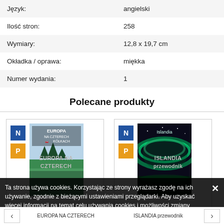| Attribute | Value |
| --- | --- |
| Język: | angielski |
| Ilość stron: | 258 |
| Wymiary: | 12,8 x 19,7 cm |
| Okładka / oprawa: | miękka |
| Numer wydania: | 1 |
Polecane produkty
[Figure (illustration): Product card for 'Europa na czterech kółkach' book with N and P badges and book cover image]
[Figure (illustration): Product card for 'Islandia przewodnik' book with N and P badges and book cover showing northern lights]
Ta strona używa cookies. Korzystając ze strony wyrażasz zgodę na ich używanie, zgodnie z bieżącymi ustawieniami przeglądarki. Aby uzyskać więcej informacji na temat celu używania cookies i możliwości zmiany ustawień dotyczących cookies kliknij tutaj: więcej
EUROPA NA CZTERECH    ISLANDIA przewodnik